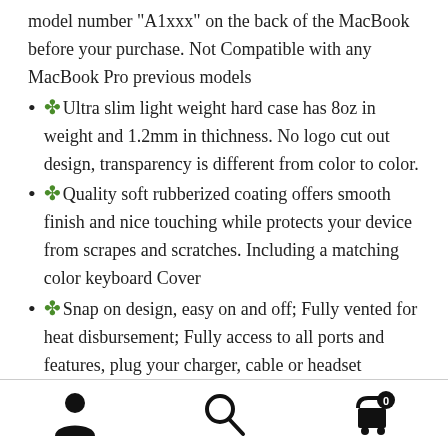model number “A1xxx” on the back of the MacBook before your purchase. Not Compatible with any MacBook Pro previous models
Ultra slim light weight hard case has 8oz in weight and 1.2mm in thichness. No logo cut out design, transparency is different from color to color.
Quality soft rubberized coating offers smooth finish and nice touching while protects your device from scrapes and scratches. Including a matching color keyboard Cover
Snap on design, easy on and off; Fully vented for heat disbursement; Fully access to all ports and features, plug your charger, cable or headset without removing the case.